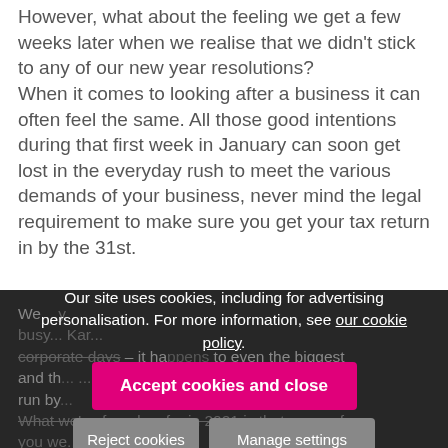However, what about the feeling we get a few weeks later when we realise that we didn't stick to any of our new year resolutions?
When it comes to looking after a business it can often feel the same. All those good intentions during that first week in January can soon get lost in the everyday rush to meet the various demands of your business, never mind the legal requirement to make sure you get your tax return in by the 31st.
We... [partially obscured] ...y [partially obscured] ...busy... Kar... corporate days – it happens to even the biggest and th... ...ns are run by... What we've found so far in 2021 is that many of you we... ...c... ...wake-up call that is the pandemic. It has been a
Our site uses cookies, including for advertising personalisation. For more information, see our cookie policy.
Accept cookies and close
Reject cookies
Manage settings